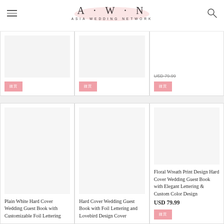A · W · N  ASIA WEDDING NETWORK
[Figure (screenshot): Top row of product cards partially visible: three wedding guest book products with pink order buttons. Card 3 shows price USD 79.99 (partially cut off at top).]
[Figure (screenshot): Bottom row product card 1: Plain White Hard Cover Wedding Guest Book with Customizable Foil Lettering]
Plain White Hard Cover Wedding Guest Book with Customizable Foil Lettering
[Figure (screenshot): Bottom row product card 2: Hard Cover Wedding Guest Book with Foil Lettering and Lovebird Design Cover]
Hard Cover Wedding Guest Book with Foil Lettering and Lovebird Design Cover
[Figure (screenshot): Bottom row product card 3: Floral Wreath Print Design Hard Cover Wedding Guest Book with Elegant Lettering & Custom Color Design]
Floral Wreath Print Design Hard Cover Wedding Guest Book with Elegant Lettering & Custom Color Design
USD 79.99